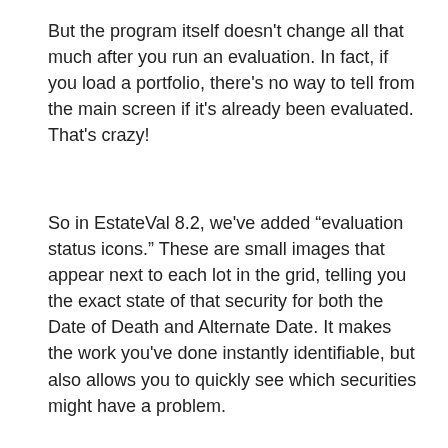But the program itself doesn't change all that much after you run an evaluation. In fact, if you load a portfolio, there's no way to tell from the main screen if it's already been evaluated. That's crazy!
So in EstateVal 8.2, we've added "evaluation status icons." These are small images that appear next to each lot in the grid, telling you the exact state of that security for both the Date of Death and Alternate Date. It makes the work you've done instantly identifiable, but also allows you to quickly see which securities might have a problem.